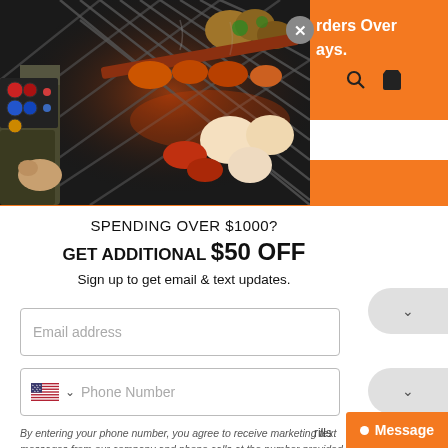[Figure (photo): Person grilling food on a BBQ grill with various meats and vegetables, hands visible adjusting the grill controls]
rders Over
ays.
SPENDING OVER $1000?
GET ADDITIONAL $50 OFF
Sign up to get email & text updates.
Email address
Phone Number
By entering your phone number, you agree to receive marketing text messages from our company and phone calls at the number provided, including messages sent by autodialer. Consent is not a condition of purchase. Message and data rates may apply. Message frequency